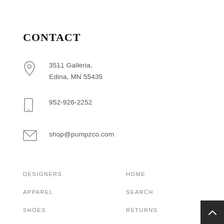CONTACT
3511 Galleria, Edina, MN 55435
952-926-2252
shop@pumpzco.com
DESIGNERS
HOME
APPAREL
SEARCH
SHOES
RETURNS